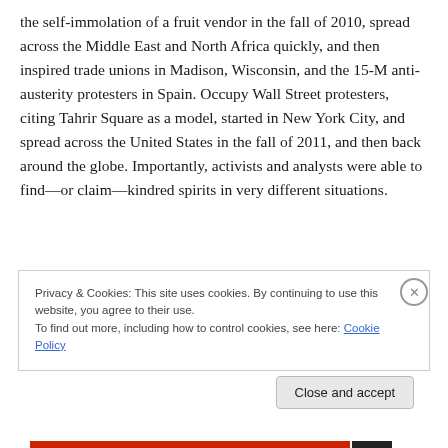the self-immolation of a fruit vendor in the fall of 2010, spread across the Middle East and North Africa quickly, and then inspired trade unions in Madison, Wisconsin, and the 15-M anti-austerity protesters in Spain. Occupy Wall Street protesters, citing Tahrir Square as a model, started in New York City, and spread across the United States in the fall of 2011, and then back around the globe. Importantly, activists and analysts were able to find—or claim—kindred spirits in very different situations.
Privacy & Cookies: This site uses cookies. By continuing to use this website, you agree to their use.
To find out more, including how to control cookies, see here: Cookie Policy